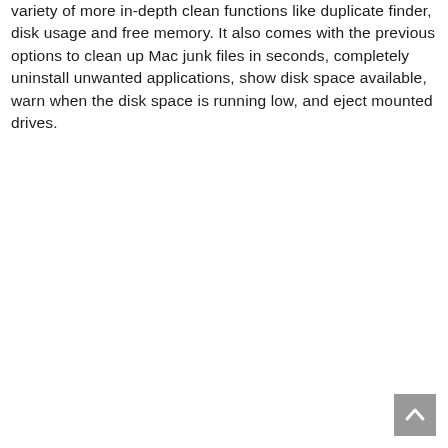variety of more in-depth clean functions like duplicate finder, disk usage and free memory. It also comes with the previous options to clean up Mac junk files in seconds, completely uninstall unwanted applications, show disk space available, warn when the disk space is running low, and eject mounted drives.
[Figure (other): Back to top button — a grey square button with an upward-pointing chevron/caret icon in white, positioned in the bottom-right corner of the page.]